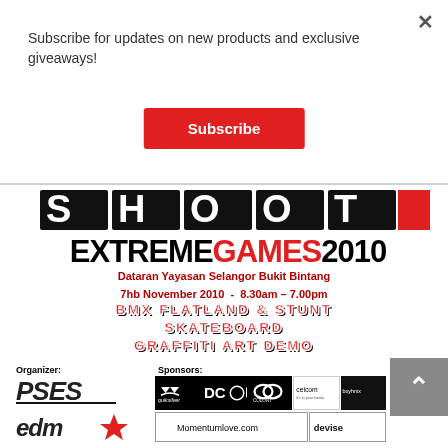Subscribe for updates on new products and exclusive giveaways!
Subscribe
[Figure (illustration): Grunge/distressed graphic text at top of event poster]
EXTREME GAMES 2010
Dataran Yayasan Selangor Bukit Bintang
7hb November 2010 - 8.30am – 7.00pm
BMX FLATLAND & STUNT
SKATEBOARD
GRAFFITI ART DEMO
Organizer:
Sponsors:
[Figure (logo): PSES organizer logo (bold stylized text)]
[Figure (logo): edm star organizer logo]
[Figure (logo): Quiksilver sponsor logo]
[Figure (logo): DC Shoes sponsor logo]
[Figure (logo): Colony sponsor logo]
[Figure (logo): Celcom sponsor logo]
[Figure (logo): Buyhmx sponsor logo]
[Figure (logo): Momentumlove.com sponsor logo]
[Figure (logo): Devise sponsor logo]